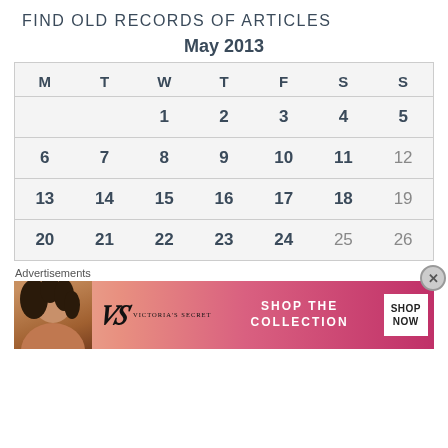FIND OLD RECORDS OF ARTICLES
May 2013
| M | T | W | T | F | S | S |
| --- | --- | --- | --- | --- | --- | --- |
|  |  | 1 | 2 | 3 | 4 | 5 |
| 6 | 7 | 8 | 9 | 10 | 11 | 12 |
| 13 | 14 | 15 | 16 | 17 | 18 | 19 |
| 20 | 21 | 22 | 23 | 24 | 25 | 26 |
Advertisements
[Figure (advertisement): Victoria's Secret advertisement: SHOP THE COLLECTION with SHOP NOW button, featuring a model and VS logo on pink background]